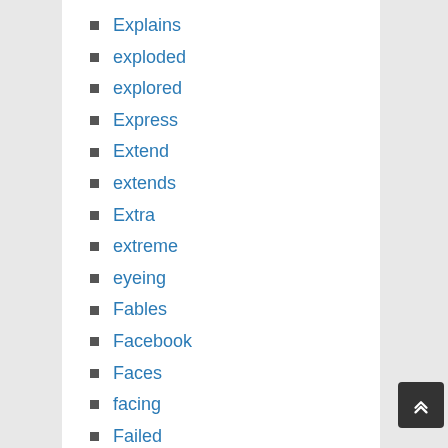Explains
exploded
explored
Express
Extend
extends
Extra
extreme
eyeing
Fables
Facebook
Faces
facing
Failed
Fails